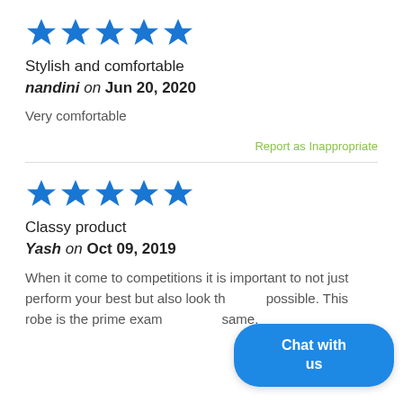[Figure (other): 5 blue star rating icons]
Stylish and comfortable
nandini on Jun 20, 2020
Very comfortable
Report as Inappropriate
[Figure (other): 5 blue star rating icons]
Classy product
Yash on Oct 09, 2019
When it come to competitions it is important to not just perform your best but also look th... possible. This robe is the prime exam... same.